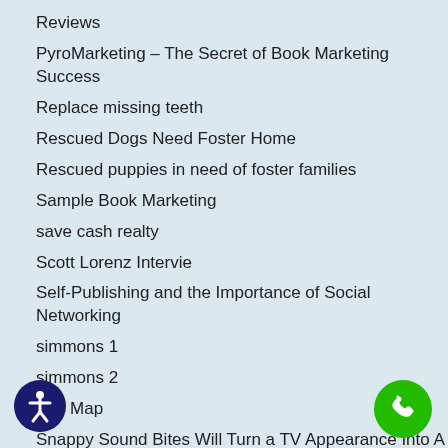Reviews
PyroMarketing – The Secret of Book Marketing Success
Replace missing teeth
Rescued Dogs Need Foster Home
Rescued puppies in need of foster families
Sample Book Marketing
save cash realty
Scott Lorenz Intervie
Self-Publishing and the Importance of Social Networking
simmons 1
simmons 2
Site Map
Snappy Sound Bites Will Turn a TV Appearance Into A Huge Success
Test-For-Posts
testimonial
Testimonials